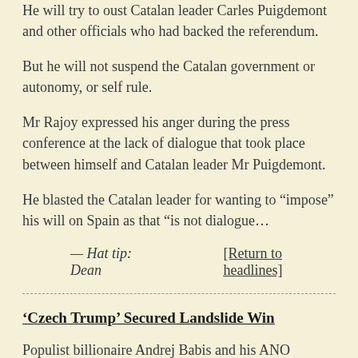He will try to oust Catalan leader Carles Puigdemont and other officials who had backed the referendum.
But he will not suspend the Catalan government or autonomy, or self rule.
Mr Rajoy expressed his anger during the press conference at the lack of dialogue that took place between himself and Catalan leader Mr Puigdemont.
He blasted the Catalan leader for wanting to “impose” his will on Spain as that “is not dialogue…
— Hat tip: Dean    [Return to headlines]
‘Czech Trump’ Secured Landslide Win
Populist billionaire Andrej Babis and his ANO movement won the Czech general election by a wide margin Saturday.
ANO had almost three times as many votes as any other party when 94 percent of votes were counted. The party is